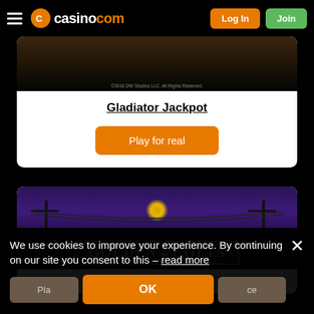casino.com — Log In | Join
[Figure (screenshot): Gladiator Jackpot game card with dark atmospheric background image and copyright notice]
Gladiator Jackpot
Play for real
[Figure (screenshot): Golden Colts game card with purple night sky background and stylized golden title logo]
Golden Colts
We use cookies to improve your experience. By continuing on our site you consent to this – read more
OK